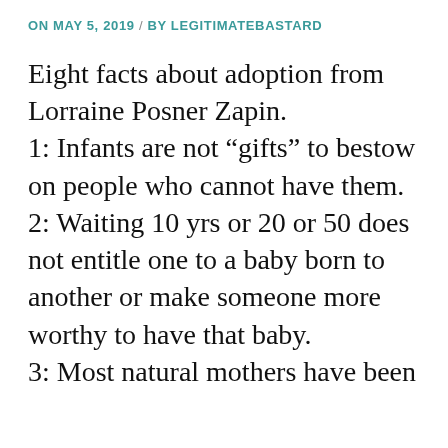ON MAY 5, 2019 / BY LEGITIMATEBASTARD
Eight facts about adoption from Lorraine Posner Zapin. 1: Infants are not “gifts” to bestow on people who cannot have them. 2: Waiting 10 yrs or 20 or 50 does not entitle one to a baby born to another or make someone more worthy to have that baby. 3: Most natural mothers have been